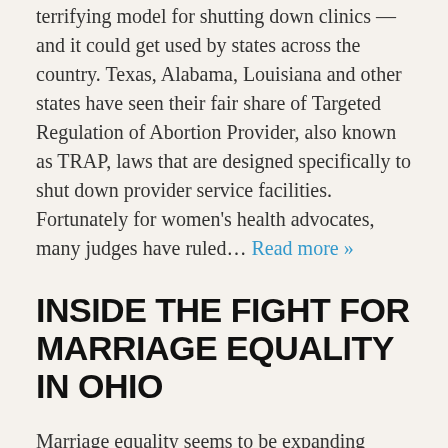terrifying model for shutting down clinics — and it could get used by states across the country. Texas, Alabama, Louisiana and other states have seen their fair share of Targeted Regulation of Abortion Provider, also known as TRAP, laws that are designed specifically to shut down provider service facilities. Fortunately for women's health advocates, many judges have ruled… Read more »
INSIDE THE FIGHT FOR MARRIAGE EQUALITY IN OHIO
Marriage equality seems to be expanding every month, with states like Michigan and Arkansas having court cases and lawsuits against the state. The issue of marriage equality has been dividing several state-wide LGBT organizations in Ohio. While some groups